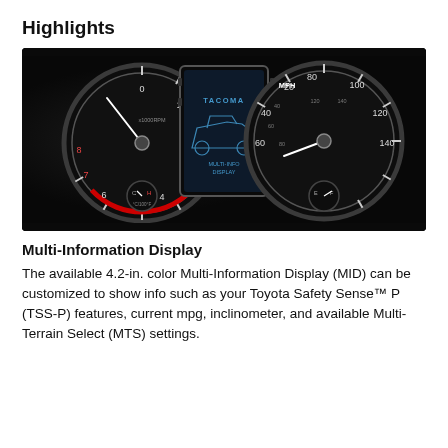Highlights
[Figure (photo): Toyota Tacoma instrument cluster dashboard showing tachometer on the left, speedometer on the right, and a center Multi-Information Display screen showing a blue outline of the Tacoma truck with the TACOMA logo]
Multi-Information Display
The available 4.2-in. color Multi-Information Display (MID) can be customized to show info such as your Toyota Safety Sense™ P (TSS-P) features, current mpg, inclinometer, and available Multi-Terrain Select (MTS) settings.